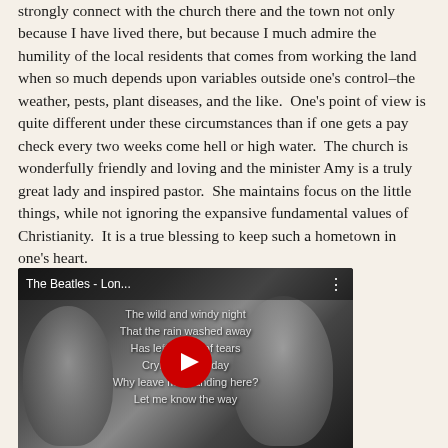strongly connect with the church there and the town not only because I have lived there, but because I much admire the humility of the local residents that comes from working the land when so much depends upon variables outside one’s control–the weather, pests, plant diseases, and the like.  One’s point of view is quite different under these circumstances than if one gets a pay check every two weeks come hell or high water.  The church is wonderfully friendly and loving and the minister Amy is a truly great lady and inspired pastor.  She maintains focus on the little things, while not ignoring the expansive fundamental values of Christianity.  It is a true blessing to keep such a hometown in one’s heart.
[Figure (screenshot): Embedded YouTube video thumbnail showing The Beatles - Lon... with black and white photo of two people (Beatles members) and lyrics overlay: 'The wild and windy night / That the rain washed away / Has left a pool of tears / Crying for the day / Why leave me standing here? / Let me know the way'. Red YouTube play button in center.]